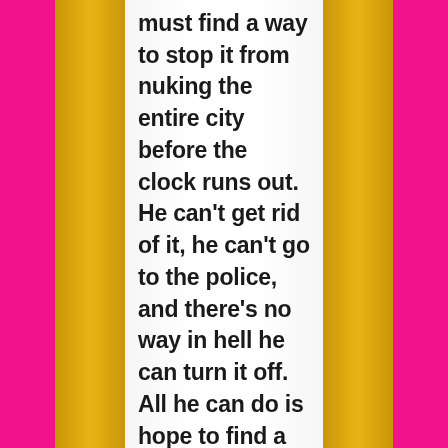must find a way to stop it from nuking the entire city before the clock runs out. He can't get rid of it, he can't go to the police, and there's no way in hell he can turn it off. All he can do is hope to find a solution before the bomb decides his head would look better sprayed across the ceiling. To add insult to injury, the bomb's original owners want their property back and they'll decapitate,